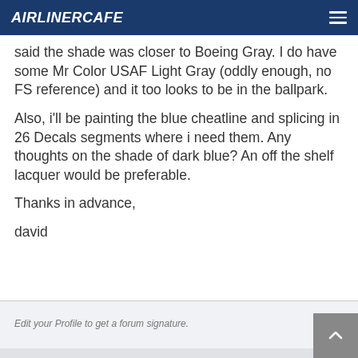AIRLINERCAFE
said the shade was closer to Boeing Gray. I do have some Mr Color USAF Light Gray (oddly enough, no FS reference) and it too looks to be in the ballpark.
Also, i'll be painting the blue cheatline and splicing in 26 Decals segments where i need them. Any thoughts on the shade of dark blue? An off the shelf lacquer would be preferable.
Thanks in advance,
david
Edit your Profile to get a forum signature.
March 20, 2022 at 9:40 am  #162778